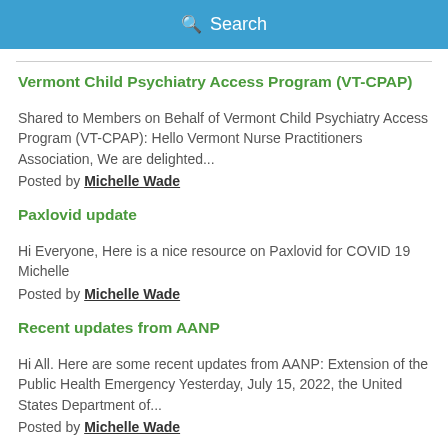[Figure (screenshot): Search bar with magnifying glass icon and text 'Search' on blue background]
Vermont Child Psychiatry Access Program (VT-CPAP)
Shared to Members on Behalf of Vermont Child Psychiatry Access Program (VT-CPAP): Hello Vermont Nurse Practitioners Association, We are delighted...
Posted by Michelle Wade
Paxlovid update
Hi Everyone, Here is a nice resource on Paxlovid for COVID 19 Michelle
Posted by Michelle Wade
Recent updates from AANP
Hi All. Here are some recent updates from AANP: Extension of the Public Health Emergency Yesterday, July 15, 2022, the United States Department of...
Posted by Michelle Wade